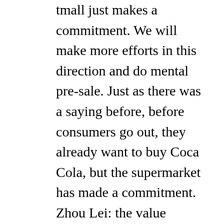tmall just makes a commitment. We will make more efforts in this direction and do mental pre-sale. Just as there was a saying before, before consumers go out, they already want to buy Coca Cola, but the supermarket has made a commitment.
Zhou Lei: the value brought by traffic depends not only on sales, but also on what can be done in addition to sales. This involves the concept of brand.
If I buy traffic, I have it. If I don't buy it, I don't have it. No one can afford it. The traffic done through content will generate brand awareness and secondary repurchase. Therefore, we will weaken the evaluation standard of single ROI on customer traffic, but increase the evaluation standard of brand...